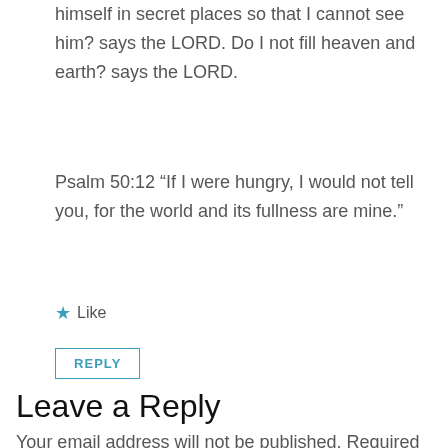himself in secret places so that I cannot see him? says the LORD. Do I not fill heaven and earth? says the LORD.
Psalm 50:12 “If I were hungry, I would not tell you, for the world and its fullness are mine.”
★ Like
REPLY
Leave a Reply
Your email address will not be published. Required